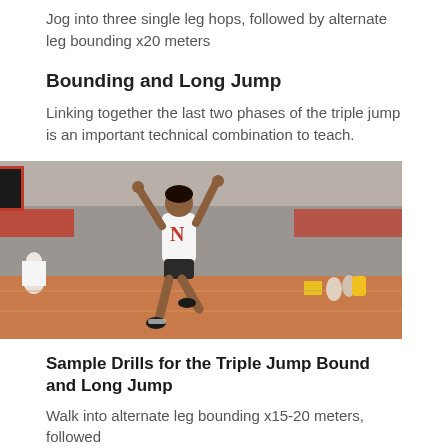Jog into three single leg hops, followed by alternate leg bounding x20 meters
Bounding and Long Jump
Linking together the last two phases of the triple jump is an important technical combination to teach.
[Figure (photo): Female athlete in Nebraska (N) uniform mid-air during a triple jump or long jump event at an indoor track and field facility. The athlete has her arms raised and one knee up. Spectators and other athletes visible in the background.]
Sample Drills for the Triple Jump Bound and Long Jump
Walk into alternate leg bounding x15-20 meters, followed